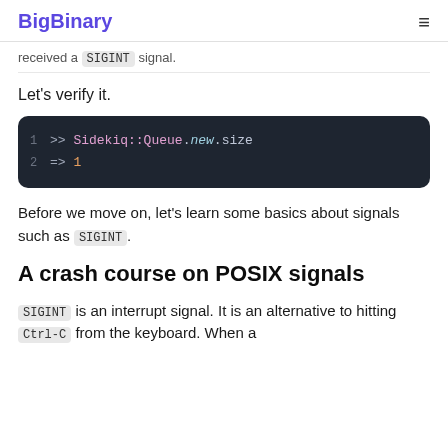BigBinary
received a SIGINT signal.
Let's verify it.
[Figure (screenshot): Code block showing: 1 >> Sidekiq::Queue.new.size  2 => 1]
Before we move on, let's learn some basics about signals such as SIGINT.
A crash course on POSIX signals
SIGINT is an interrupt signal. It is an alternative to hitting Ctrl-C from the keyboard. When a